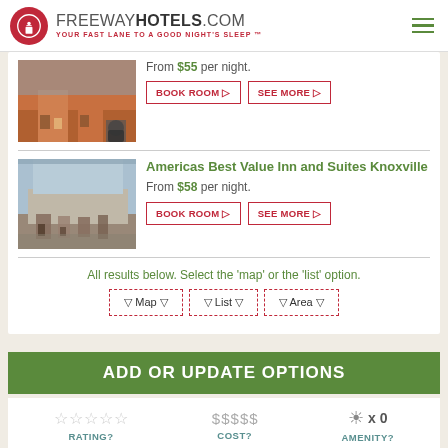FREEWAYHOTELS.COM YOUR FAST LANE TO A GOOD NIGHT'S SLEEP ™
From $55 per night.
BOOK ROOM ▷   SEE MORE ▷
Americas Best Value Inn and Suites Knoxville
From $58 per night.
BOOK ROOM ▷   SEE MORE ▷
All results below. Select the 'map' or the 'list' option.
▽ Map ▽   ▽ List ▽   ▽ Area ▽
ADD OR UPDATE OPTIONS
RATING?   COST?   AMENITY?